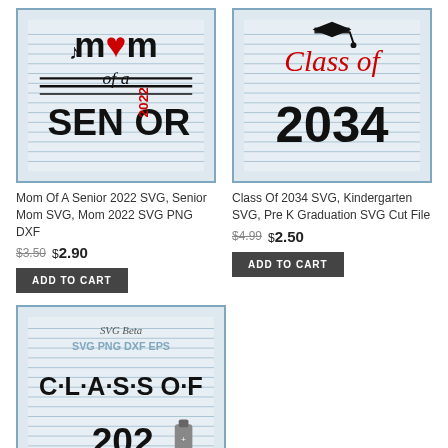[Figure (illustration): Mom Of A Senior 2022 SVG product image showing text design with musical note and heart]
[Figure (illustration): Class Of 2034 SVG product image with graduation cap and red cursive text]
Mom Of A Senior 2022 SVG, Senior Mom SVG, Mom 2022 SVG PNG DXF
Class Of 2034 SVG, Kindergarten SVG, Pre K Graduation SVG Cut File
$3.50  $2.90
$4.99  $2.50
ADD TO CART
ADD TO CART
[Figure (illustration): Class Of 2022 SVG Beta SVG PNG DXF EPS product image with Friends-style lettering]